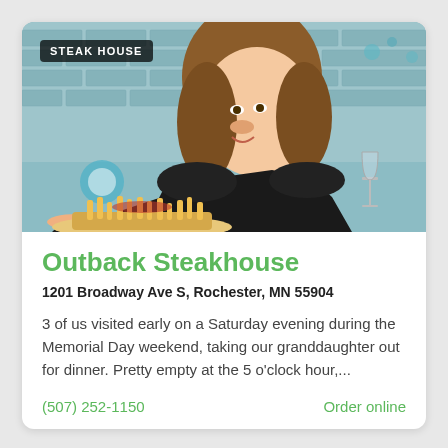[Figure (photo): A smiling waitress in a black uniform holding a plate of food (fries/loaded dish) in a restaurant setting with a brick wall background. A label 'STEAK HOUSE' appears in a dark badge overlay at the top left.]
Outback Steakhouse
1201 Broadway Ave S, Rochester, MN 55904
3 of us visited early on a Saturday evening during the Memorial Day weekend, taking our granddaughter out for dinner. Pretty empty at the 5 o'clock hour,...
(507) 252-1150
Order online